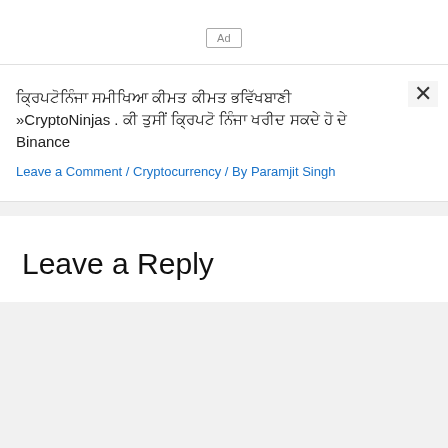[Figure (other): Ad placeholder box with label 'Ad']
ਕ੍ਰਿਪਟੋਨਿੰਜਾ ਸਮੀਖਿਆ ਕੀਮਤ ਕੀਮਤ ਭਵਿੱਖਬਾਣੀ »CryptoNinjas . ਕੀ ਤੁਸੀਂ ਕ੍ਰਿਪਟੋ ਨਿੰਜਾ ਖਰੀਦ ਸਕਦੇ ਹੋ ਦੇ Binance
Leave a Comment / Cryptocurrency / By Paramjit Singh
Leave a Reply